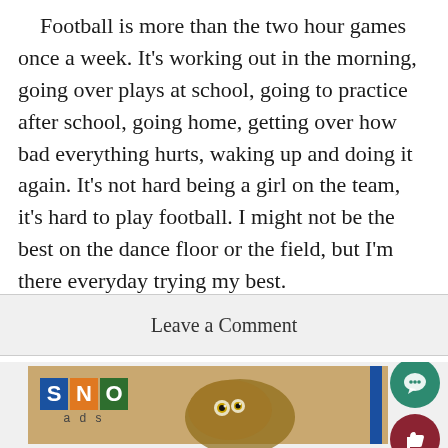Football is more than the two hour games once a week. It's working out in the morning, going over plays at school, going to practice after school, going home, getting over how bad everything hurts, waking up and doing it again. It's not hard being a girl on the team, it's hard to play football. I might not be the best on the dance floor or the field, but I'm there everyday trying my best.
Leave a Comment
[Figure (logo): SNO ads logo with an owl photo on a tan/beige background with a blue vertical stripe]